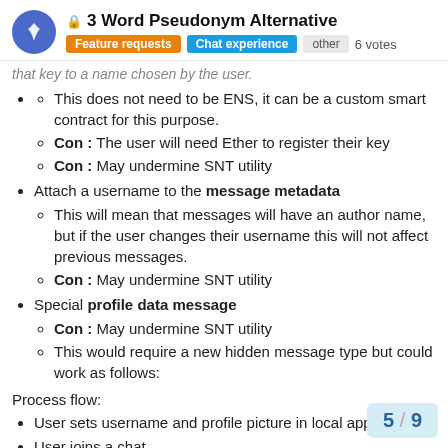3 Word Pseudonym Alternative — Feature requests | Chat experience | other | 6 votes
This does not need to be ENS, it can be a custom smart contract for this purpose.
Con: The user will need Ether to register their key
Con: May undermine SNT utility
Attach a username to the message metadata
This will mean that messages will have an author name, but if the user changes their username this will not affect previous messages.
Con: May undermine SNT utility
Special profile data message
Con: May undermine SNT utility
This would require a new hidden message type but could work as follows:
Process flow:
User sets username and profile picture in local app
User joins a chat
App publishes hidden profile data me…